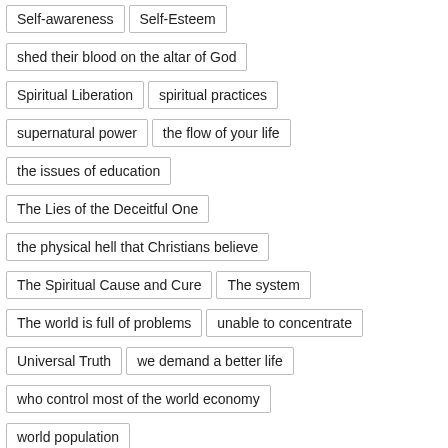Self-awareness
Self-Esteem
shed their blood on the altar of God
Spiritual Liberation
spiritual practices
supernatural power
the flow of your life
the issues of education
The Lies of the Deceitful One
the physical hell that Christians believe
The Spiritual Cause and Cure
The system
The world is full of problems
unable to concentrate
Universal Truth
we demand a better life
who control most of the world economy
world population